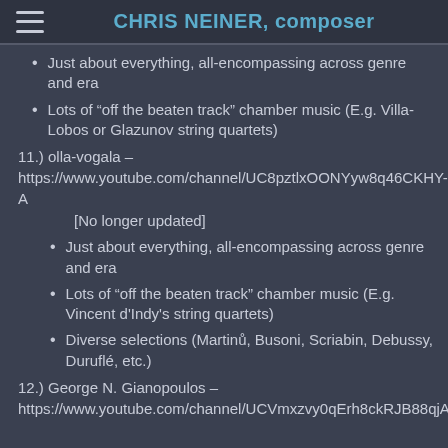CHRIS NEINER, composer
Just about everything, all-encompassing across genre and era
Lots of “off the beaten track” chamber music (E.g. Villa-Lobos or Glazunov string quartets)
11.) olla-vogala – https://www.youtube.com/channel/UC8pztlxOONYyw8q46CKHY-A
[No longer updated]
Just about everything, all-encompassing across genre and era
Lots of “off the beaten track” chamber music (E.g. Vincent d'Indy's string quartets)
Diverse selections (Martinů, Busoni, Scriabin, Debussy, Duruflé, etc.)
12.) George N. Gianopoulos – https://www.youtube.com/channel/UCVmxzvy0qErh8ckRJB88qjA/videos